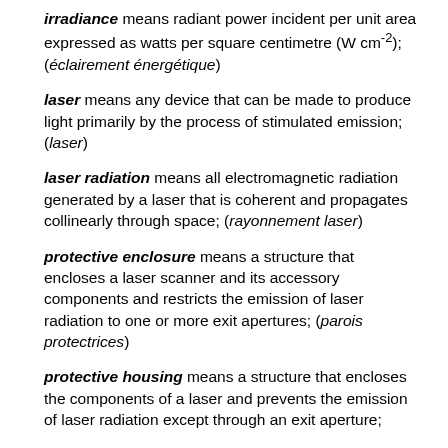irradiance means radiant power incident per unit area expressed as watts per square centimetre (W cm-2); (éclairement énergétique)
laser means any device that can be made to produce light primarily by the process of stimulated emission; (laser)
laser radiation means all electromagnetic radiation generated by a laser that is coherent and propagates collinearly through space; (rayonnement laser)
protective enclosure means a structure that encloses a laser scanner and its accessory components and restricts the emission of laser radiation to one or more exit apertures; (parois protectrices)
protective housing means a structure that encloses the components of a laser and prevents the emission of laser radiation except through an exit aperture;